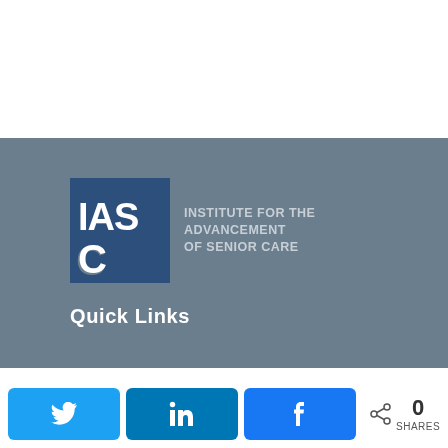[Figure (logo): IASC – Institute for the Advancement of Senior Care logo on a gray background]
Quick Links
[Figure (infographic): Social share bar with Twitter, LinkedIn, Facebook buttons and 0 SHARES count]